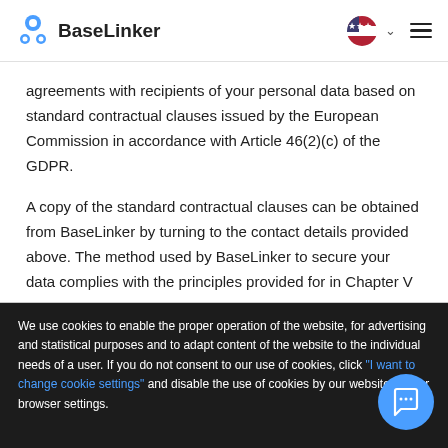BaseLinker
agreements with recipients of your personal data based on standard contractual clauses issued by the European Commission in accordance with Article 46(2)(c) of the GDPR.
A copy of the standard contractual clauses can be obtained from BaseLinker by turning to the contact details provided above. The method used by BaseLinker to secure your data complies with the principles provided for in Chapter V
We use cookies to enable the proper operation of the website, for advertising and statistical purposes and to adapt content of the website to the individual needs of a user. If you do not consent to our use of cookies, click "I want to change cookie settings" and disable the use of cookies by our website in your browser settings.